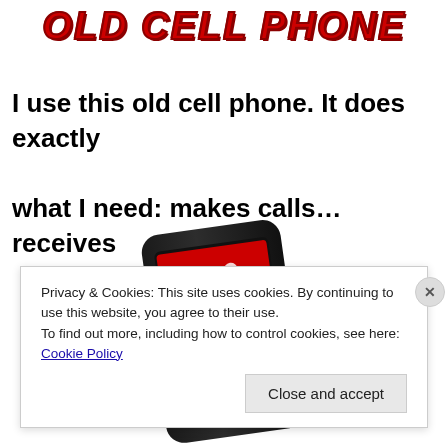Old Cell Phone
I use this old cell phone. It does exactly what I need: makes calls… receives
[Figure (photo): Photo of a black Virgin Mobile cell phone with red screen showing app icons, displayed at an angle]
Privacy & Cookies: This site uses cookies. By continuing to use this website, you agree to their use.
To find out more, including how to control cookies, see here: Cookie Policy
Close and accept